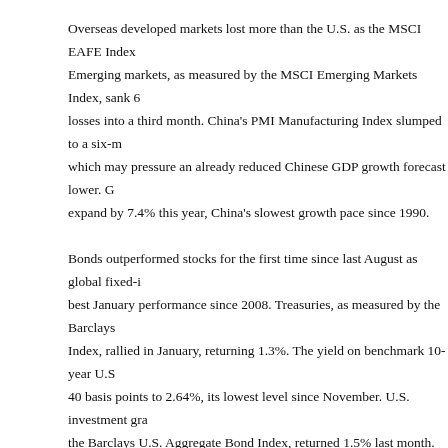Overseas developed markets lost more than the U.S. as the MSCI EAFE Index Emerging markets, as measured by the MSCI Emerging Markets Index, sank 6 losses into a third month. China's PMI Manufacturing Index slumped to a six-m which may pressure an already reduced Chinese GDP growth forecast lower. G expand by 7.4% this year, China's slowest growth pace since 1990.
Bonds outperformed stocks for the first time since last August as global fixed-i best January performance since 2008. Treasuries, as measured by the Barclays Index, rallied in January, returning 1.3%. The yield on benchmark 10-year U.S 40 basis points to 2.64%, its lowest level since November. U.S. investment gra the Barclays U.S. Aggregate Bond Index, returned 1.5% last month. The Barcla Yield Index, a proxy for non-investment grade corporate bonds, returned 0.7%. measured by the Barclays Municipals Index, outperformed Treasuries and corp returning nearly 2%.
This information is compiled by Cetera Financial Group. No independent analysis has been performed